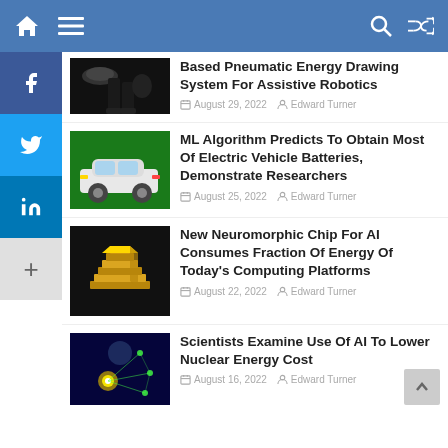Navigation bar with home, menu, search, and random icons
[Figure (screenshot): Social media sidebar with Facebook, Twitter, LinkedIn, and more buttons]
[Figure (photo): Partial image of person in black clothing with accessories - Assistive Robotics article thumbnail]
Based Pneumatic Energy Drawing System For Assistive Robotics
August 29, 2022   Edward Turner
[Figure (photo): White car on green background - Electric Vehicle batteries article thumbnail]
ML Algorithm Predicts To Obtain Most Of Electric Vehicle Batteries, Demonstrate Researchers
August 25, 2022   Edward Turner
[Figure (photo): Gold microchip on dark background - Neuromorphic chip article thumbnail]
New Neuromorphic Chip For AI Consumes Fraction Of Energy Of Today's Computing Platforms
August 22, 2022   Edward Turner
[Figure (photo): Person with glowing fist and AI network visualization - Nuclear Energy article thumbnail]
Scientists Examine Use Of AI To Lower Nuclear Energy Cost
August 16, 2022   Edward Turner